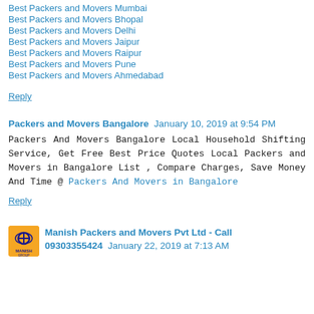Best Packers and Movers Mumbai
Best Packers and Movers Bhopal
Best Packers and Movers Delhi
Best Packers and Movers Jaipur
Best Packers and Movers Raipur
Best Packers and Movers Pune
Best Packers and Movers Ahmedabad
Reply
Packers and Movers Bangalore  January 10, 2019 at 9:54 PM
Packers And Movers Bangalore Local Household Shifting Service, Get Free Best Price Quotes Local Packers and Movers in Bangalore List , Compare Charges, Save Money And Time @ Packers And Movers in Bangalore
Reply
Manish Packers and Movers Pvt Ltd - Call 09303355424  January 22, 2019 at 7:13 AM